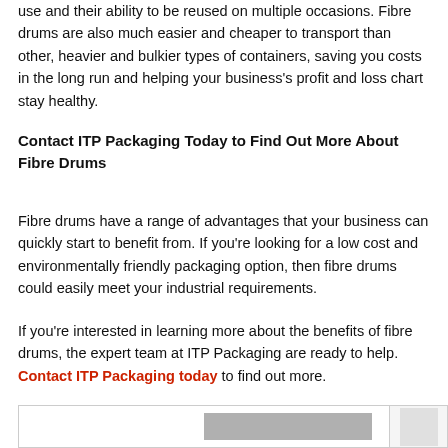use and their ability to be reused on multiple occasions. Fibre drums are also much easier and cheaper to transport than other, heavier and bulkier types of containers, saving you costs in the long run and helping your business's profit and loss chart stay healthy.
Contact ITP Packaging Today to Find Out More About Fibre Drums
Fibre drums have a range of advantages that your business can quickly start to benefit from. If you're looking for a low cost and environmentally friendly packaging option, then fibre drums could easily meet your industrial requirements.
If you're interested in learning more about the benefits of fibre drums, the expert team at ITP Packaging are ready to help. Contact ITP Packaging today to find out more.